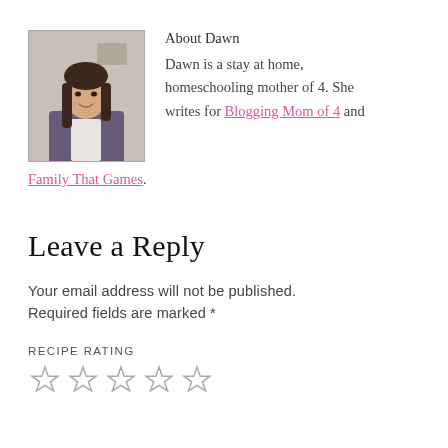[Figure (photo): Headshot photo of Dawn, a woman with long dark hair, smiling, inside a bordered square]
About Dawn
Dawn is a stay at home, homeschooling mother of 4. She writes for Blogging Mom of 4 and Family That Games.
Leave a Reply
Your email address will not be published.
Required fields are marked *
RECIPE RATING
[Figure (other): Five empty star rating icons]